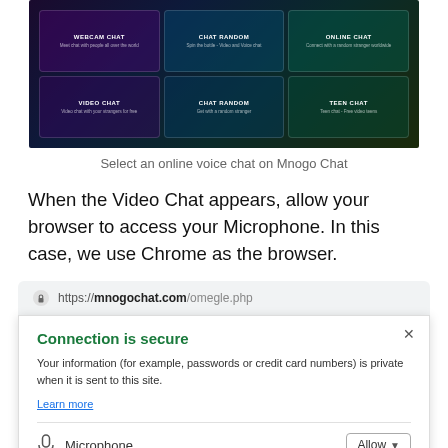[Figure (screenshot): Screenshot of Mnogo Chat website showing a grid of chat options: Video Chat, Chat Random, Online Chat (top row) and Video Chat, Chat Random, Teen Chat (bottom row) with colorful dark backgrounds]
Select an online voice chat on Mnogo Chat
When the Video Chat appears, allow your browser to access your Microphone. In this case, we use Chrome as the browser.
[Figure (screenshot): Chrome browser security popup showing URL https://mnogochat.com/omegle.php with 'Connection is secure' message, microphone permission set to Allow, and partial notification permission row]